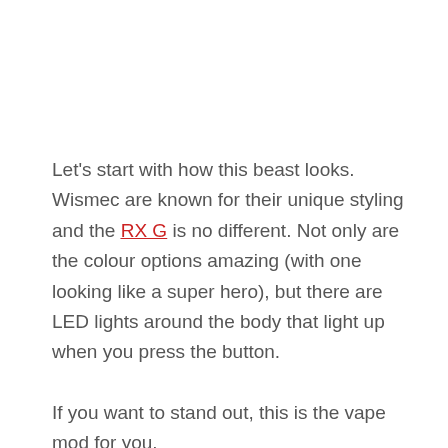Let's start with how this beast looks. Wismec are known for their unique styling and the RX G is no different. Not only are the colour options amazing (with one looking like a super hero), but there are LED lights around the body that light up when you press the button.
If you want to stand out, this is the vape mod for you.
Durability